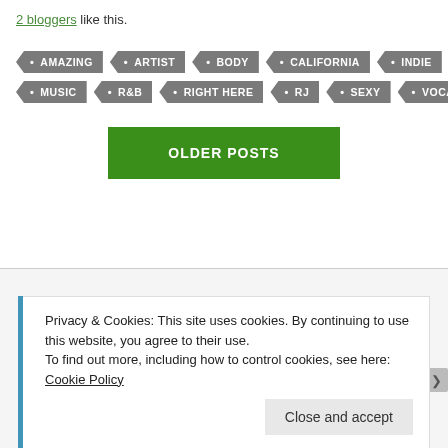2 bloggers like this.
AMAZING  ARTIST  BODY  CALIFORNIA  INDIE  MALE  MUSIC  R&B  RIGHT HERE  RJ  SEXY  VOCALS
OLDER POSTS
Privacy & Cookies: This site uses cookies. By continuing to use this website, you agree to their use.
To find out more, including how to control cookies, see here: Cookie Policy
Close and accept